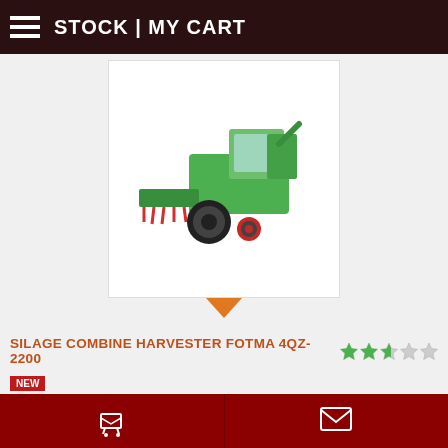STOCK | MY CART
[Figure (photo): Green silage combine harvester machine (Fotma 4QZ-2200) on white background]
SILAGE COMBINE HARVESTER FOTMA 4QZ-2200
NEW
ID: 1249
Qty Available: 30 UNITS
Manufactured by: Hubei Fotma Machinery
The price: $ P.O.A.
Cart | Envelope icons